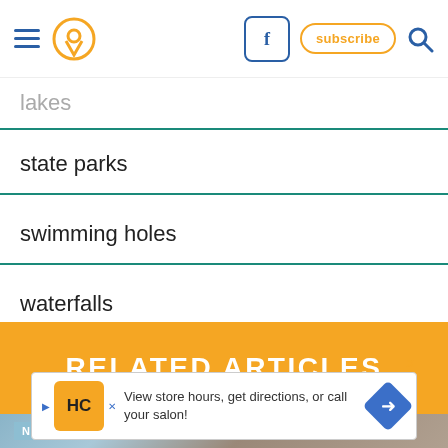Navigation header with hamburger menu, location pin icon, Facebook button, subscribe button, and search icon
lakes
state parks
swimming holes
waterfalls
RELATED ARTICLES
[Figure (other): Advertisement banner: HC logo, 'View store hours, get directions, or call your salon!', blue diamond arrow, close X]
[Figure (photo): Nature photo with NATURE label tag at bottom left]